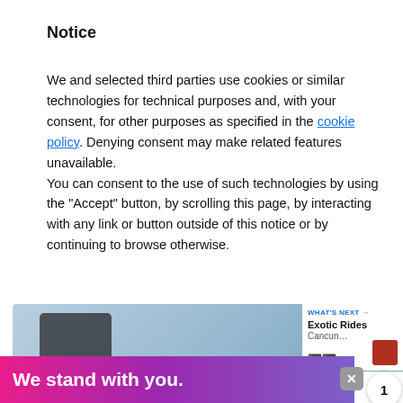Notice
We and selected third parties use cookies or similar technologies for technical purposes and, with your consent, for other purposes as specified in the cookie policy. Denying consent may make related features unavailable.
You can consent to the use of such technologies by using the “Accept” button, by scrolling this page, by interacting with any link or button outside of this notice or by continuing to browse otherwise.
[Figure (screenshot): Two blue rounded buttons labeled Reject and Accept, with a circular blue heart icon button to the right]
[Figure (screenshot): Gray rounded button labeled Learn more and customize, with number badge 1 and share icon to the right]
[Figure (screenshot): Bottom strip showing partial photo, WHAT'S NEXT Exotic Rides Cancun... panel, and pink/purple ad banner saying We stand with you.]